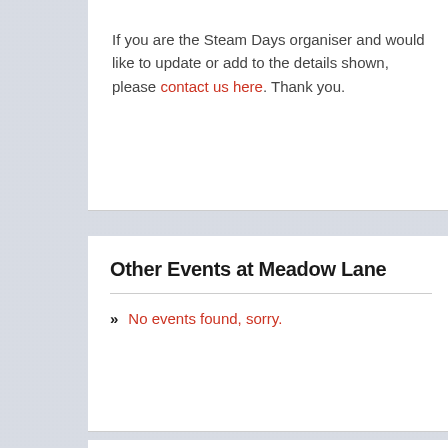If you are the Steam Days organiser and would like to update or add to the details shown, please contact us here. Thank you.
Other Events at Meadow Lane
» No events found, sorry.
Other Events Around DE13 0DA